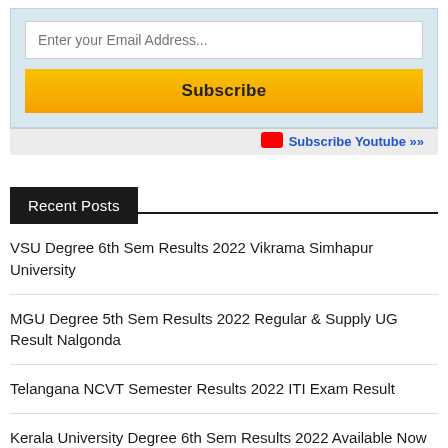Enter your Email Address...
Subscribe
Subscribe Youtube »»
Recent Posts
VSU Degree 6th Sem Results 2022 Vikrama Simhapur University
MGU Degree 5th Sem Results 2022 Regular & Supply UG Result Nalgonda
Telangana NCVT Semester Results 2022 ITI Exam Result
Kerala University Degree 6th Sem Results 2022 Available Now